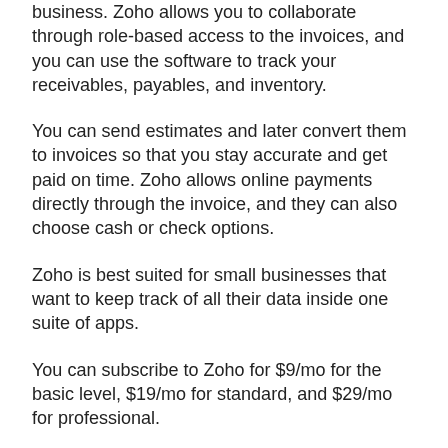business. Zoho allows you to collaborate through role-based access to the invoices, and you can use the software to track your receivables, payables, and inventory.
You can send estimates and later convert them to invoices so that you stay accurate and get paid on time. Zoho allows online payments directly through the invoice, and they can also choose cash or check options.
Zoho is best suited for small businesses that want to keep track of all their data inside one suite of apps.
You can subscribe to Zoho for $9/mo for the basic level, $19/mo for standard, and $29/mo for professional.